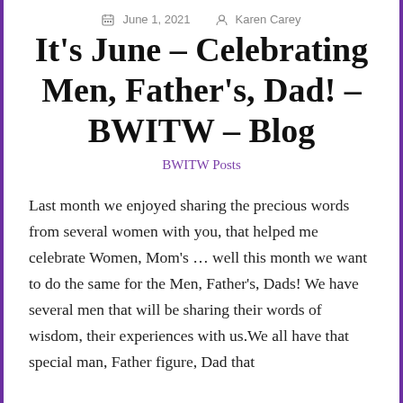June 1, 2021   Karen Carey
It's June – Celebrating Men, Father's, Dad! – BWITW – Blog
BWITW Posts
Last month we enjoyed sharing the precious words from several women with you, that helped me celebrate Women, Mom's … well this month we want to do the same for the Men, Father's, Dads! We have several men that will be sharing their words of wisdom, their experiences with us.We all have that special man, Father figure, Dad that